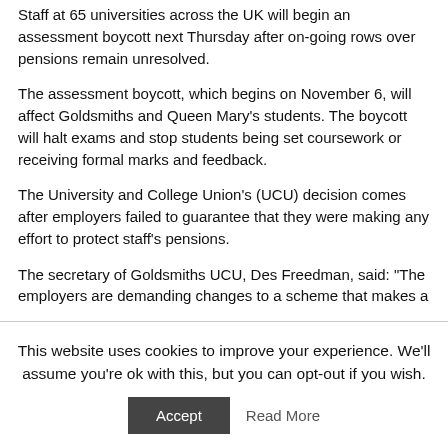Staff at 65 universities across the UK will begin an assessment boycott next Thursday after on-going rows over pensions remain unresolved.
The assessment boycott, which begins on November 6, will affect Goldsmiths and Queen Mary's students. The boycott will halt exams and stop students being set coursework or receiving formal marks and feedback.
The University and College Union's (UCU) decision comes after employers failed to guarantee that they were making any effort to protect staff's pensions.
The secretary of Goldsmiths UCU, Des Freedman, said: “The employers are demanding changes to a scheme that makes a
This website uses cookies to improve your experience. We'll assume you're ok with this, but you can opt-out if you wish.
Accept
Read More